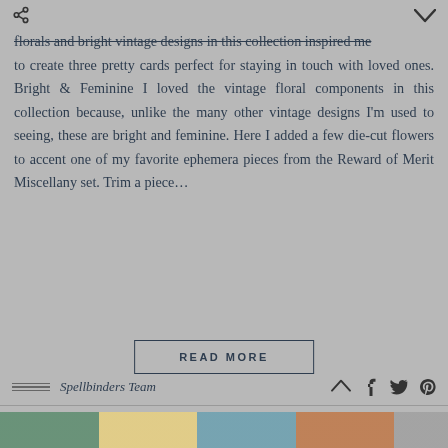florals and bright vintage designs in this collection inspired me to create three pretty cards perfect for staying in touch with loved ones. Bright & Feminine I loved the vintage floral components in this collection because, unlike the many other vintage designs I'm used to seeing, these are bright and feminine. Here I added a few die-cut flowers to accent one of my favorite ephemera pieces from the Reward of Merit Miscellany set. Trim a piece...
READ MORE
Spellbinders Team